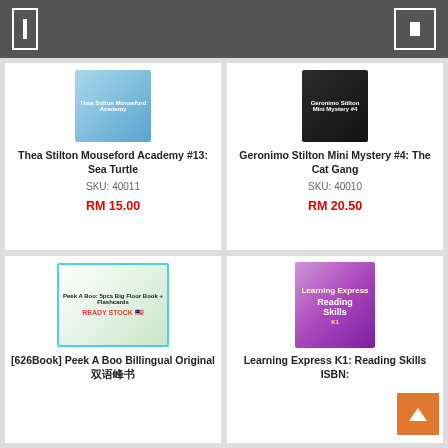[Figure (screenshot): Top navigation bar with menu icon and cart icon on dark gray background]
[Figure (photo): Book cover: Thea Stilton Mouseford Academy #13: Sea Turtle]
Thea Stilton Mouseford Academy #13: Sea Turtle
SKU: 40011
RM 15.00
[Figure (photo): Book cover: Geronimo Stilton Mini Mystery #4: The Cat Gang]
Geronimo Stilton Mini Mystery #4: The Cat Gang
SKU: 40010
RM 20.50
[Figure (photo): Book cover: [626Book] Peek A Boo Billingual Original with flashcards, READY STOCK]
[626Book] Peek A Boo Billingual Original 双语峰书
[Figure (photo): Book cover: Learning Express K1: Reading Skills ISBN]
Learning Express K1: Reading Skills ISBN: